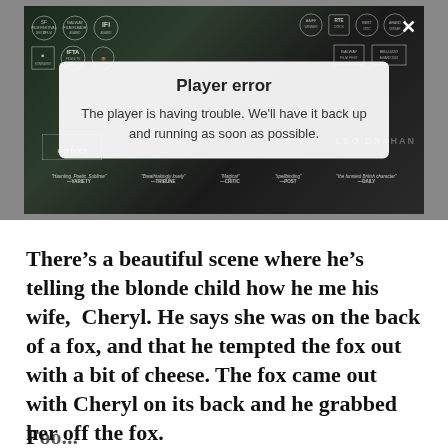[Figure (screenshot): Video player showing a dark cinematic documentary film with award laurels, overlaid with a white 'Player error' dialog box reading: 'The player is having trouble. We'll have it back up and running as soon as possible.' A close (X) button is shown in the top right of the player area. Multiple film festival award laurels are visible including IFTA and HotDocs. Quotes about the film visible at the bottom.]
There’s a beautiful scene where he’s telling the blonde child how he me his wife,  Cheryl. He says she was on the back of a fox, and that he tempted the fox out with a bit of cheese. The fox came out with Cheryl on its back and he grabbed her off the fox.